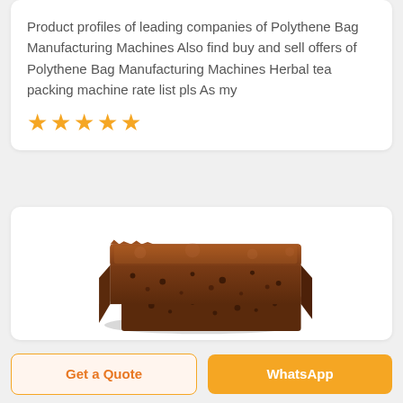Product profiles of leading companies of Polythene Bag Manufacturing Machines Also find buy and sell offers of Polythene Bag Manufacturing Machines Herbal tea packing machine rate list pls As my
★★★★★
[Figure (photo): Two stacked chocolate brownie squares on a white background]
Get a Quote
WhatsApp